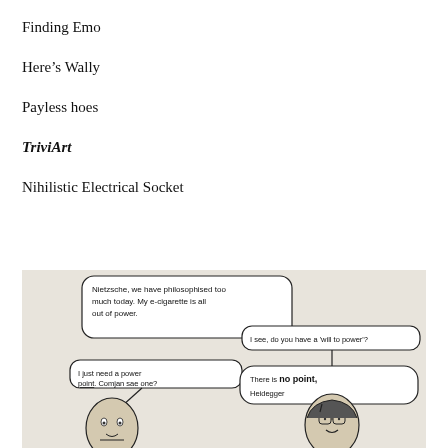Finding Emo
Here's Wally
Payless hoes
TriviArt
Nihilistic Electrical Socket
[Figure (illustration): Hand-drawn comic showing two figures (Heidegger and another) with speech bubbles. One bubble reads 'Nietzsche, we have philosophised too much today. My e-cigarette is all out of power.' Another reads 'I see, do you have a will to power?' Another reads 'I just need a power point. Comjan sae one?' And a final bubble reads 'There is no point, Heidegger']